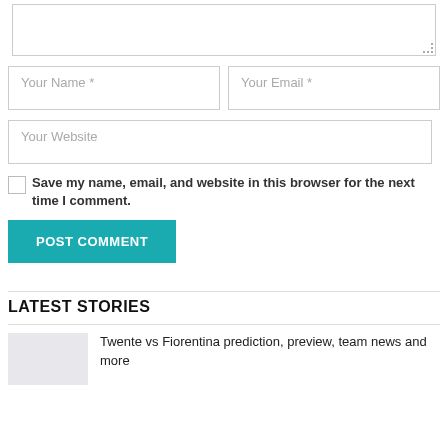[Figure (other): Textarea input box for comment]
Your Name *
Your Email *
Your Website
Save my name, email, and website in this browser for the next time I comment.
POST COMMENT
LATEST STORIES
Twente vs Fiorentina prediction, preview, team news and more